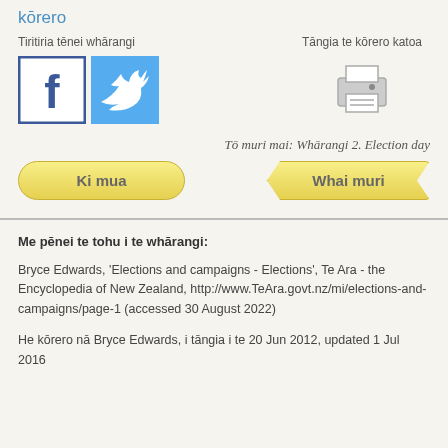kōrero
Tiritiria tēnei whārangi
[Figure (other): Facebook and Twitter share buttons]
Tāngia te kōrero katoa
[Figure (other): Print icon]
Tō muri mai: Whārangi 2. Election day
Ki mua
Whai muri
Me pēnei te tohu i te whārangi:
Bryce Edwards, 'Elections and campaigns - Elections', Te Ara - the Encyclopedia of New Zealand, http://www.TeAra.govt.nz/mi/elections-and-campaigns/page-1 (accessed 30 August 2022)
He kōrero nā Bryce Edwards, i tāngia i te 20 Jun 2012, updated 1 Jul 2016